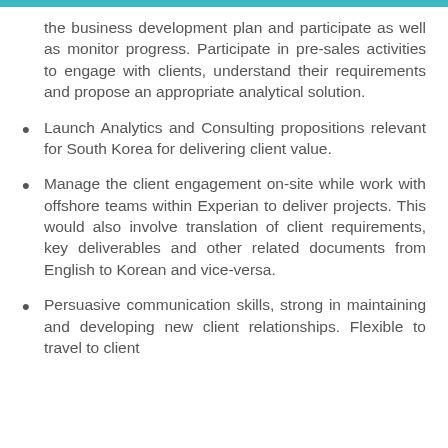the business development plan and participate as well as monitor progress. Participate in pre-sales activities to engage with clients, understand their requirements and propose an appropriate analytical solution.
Launch Analytics and Consulting propositions relevant for South Korea for delivering client value.
Manage the client engagement on-site while work with offshore teams within Experian to deliver projects. This would also involve translation of client requirements, key deliverables and other related documents from English to Korean and vice-versa.
Persuasive communication skills, strong in maintaining and developing new client relationships. Flexible to travel to client